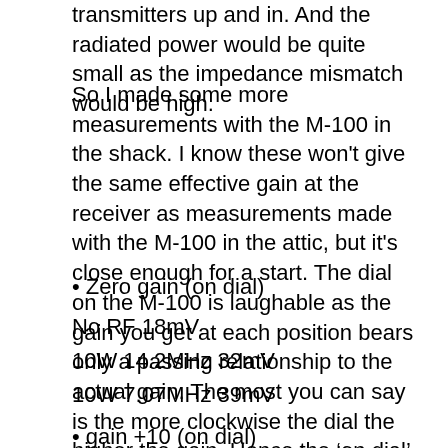transmitters up and in. And the radiated power would be quite small as the impedance mismatch would be high.
So I made some more measurements with the M-100 in the shack. I know these won't give the same effective gain at the receiver as measurements made with the M-100 in the attic, but it's close enough for a start. The dial on the M-100 is laughable as the gain you get at each position bears only a passing relationship to the actual gain. The most you can say is the more clockwise the dial the higher the gain. Hence the 'on dial' below.
• Zero gain (on dial)
No RF 18mV
10W 14.2MHz 32mV
10W 7.07MHz 39mV
• gain +10 (on dial)
No RF 18mV